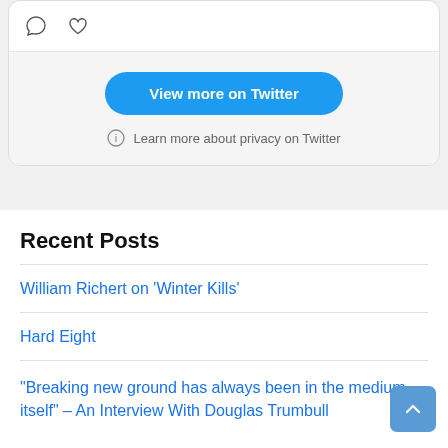[Figure (screenshot): Twitter/X embed widget showing comment and like icons, a blue 'View more on Twitter' button, and a privacy info link on a light gray background.]
View more on Twitter
Learn more about privacy on Twitter
Recent Posts
William Richert on 'Winter Kills'
Hard Eight
“Breaking new ground has always been in the medium itself” – An Interview With Douglas Trumbull